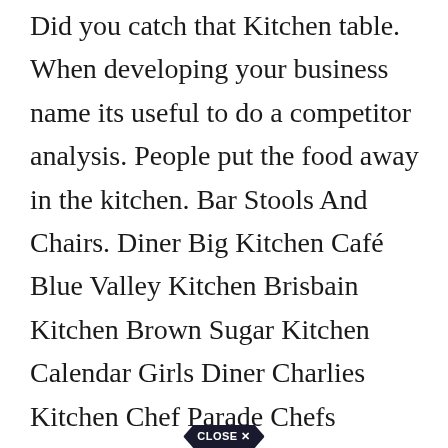Did you catch that Kitchen table. When developing your business name its useful to do a competitor analysis. People put the food away in the kitchen. Bar Stools And Chairs. Diner Big Kitchen Café Blue Valley Kitchen Brisbain Kitchen Brown Sugar Kitchen Calendar Girls Diner Charlies Kitchen Chef Parade Chefs Kitchen Classic Kitchen Corner Kitchen Country Diner Crazy Cut Kitchen Crew Cafe Dine Right Diner Diner the Great DineRite Diner Downtown Diner.
[Figure (other): Close button shaped like a hexagon/arrow with text 'CLOSE X']